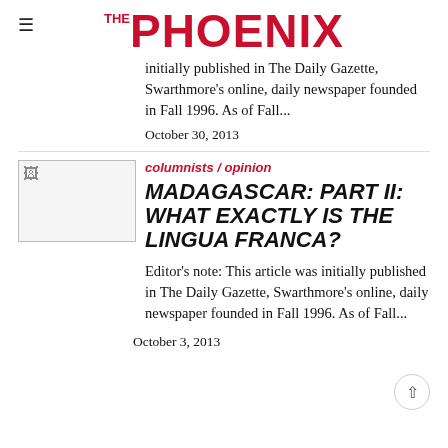THE PHOENIX
initially published in The Daily Gazette, Swarthmore's online, daily newspaper founded in Fall 1996. As of Fall...
October 30, 2013
[Figure (photo): Thumbnail image placeholder for article]
columnists / opinion
MADAGASCAR: PART II: WHAT EXACTLY IS THE LINGUA FRANCA?
Editor's note: This article was initially published in The Daily Gazette, Swarthmore's online, daily newspaper founded in Fall 1996. As of Fall...
October 3, 2013